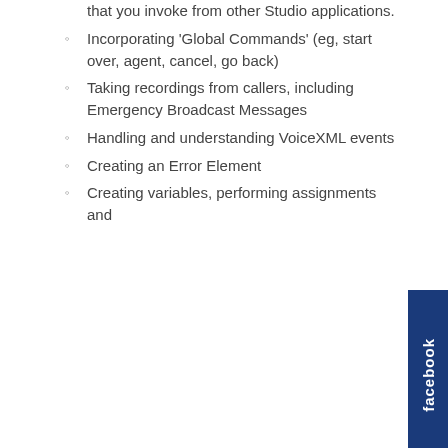that you invoke from other Studio applications.
Incorporating 'Global Commands' (eg, start over, agent, cancel, go back)
Taking recordings from callers, including Emergency Broadcast Messages
Handling and understanding VoiceXML events
Creating an Error Element
Creating variables, performing assignments and